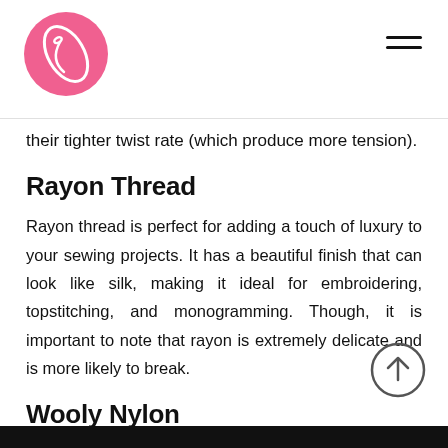[Sewing logo and navigation]
their tighter twist rate (which produce more tension).
Rayon Thread
Rayon thread is perfect for adding a touch of luxury to your sewing projects. It has a beautiful finish that can look like silk, making it ideal for embroidering, topstitching, and monogramming. Though, it is important to note that rayon is extremely delicate and is more likely to break.
Wooly Nylon
If you're looking for a thread that can handle stretchy